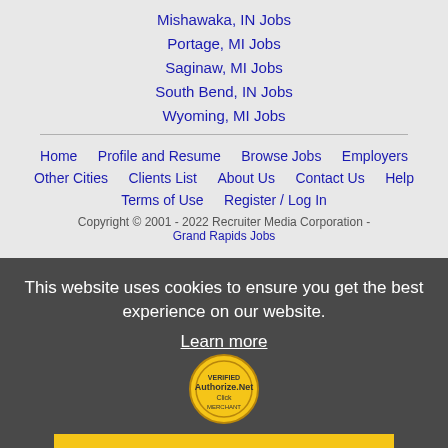Mishawaka, IN Jobs
Portage, MI Jobs
Saginaw, MI Jobs
South Bend, IN Jobs
Wyoming, MI Jobs
Home  Profile and Resume  Browse Jobs  Employers  Other Cities  Clients List  About Us  Contact Us  Help  Terms of Use  Register / Log In
Copyright © 2001 - 2022 Recruiter Media Corporation - Grand Rapids Jobs
This website uses cookies to ensure you get the best experience on our website. Learn more
Got it!